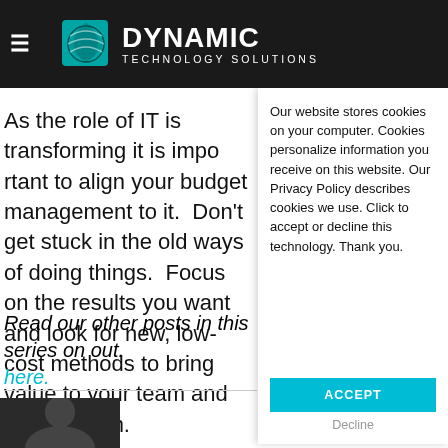DYNAMIC TECHNOLOGY SOLUTIONS
As the role of IT is transforming it is important to align your budget management to it. Don't get stuck in the old ways of doing things. Focus on the results you want and look for new, low-cost methods to bring value to your team and organization.
Read our other posts in this series on out... here.
[Figure (photo): Author headshot photo, partially visible at bottom left]
Our website stores cookies on your computer. Cookies personalize information you receive on this website. Our Privacy Policy describes cookies we use. Click to accept or decline this technology. Thank you.